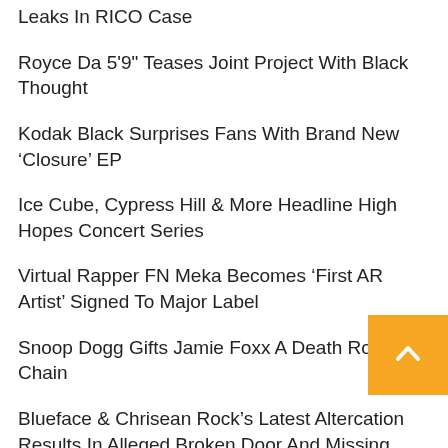Leaks In RICO Case
Royce Da 5'9" Teases Joint Project With Black Thought
Kodak Black Surprises Fans With Brand New ‘Closure’ EP
Ice Cube, Cypress Hill & More Headline High Hopes Concert Series
Virtual Rapper FN Meka Becomes ‘First AR Artist’ Signed To Major Label
Snoop Dogg Gifts Jamie Foxx A Death Row Chain
Blueface & Chrisean Rock’s Latest Altercation Results In Alleged Broken Door And Missing Hair: ‘She Tried To Run’
DJ Drama Says 'Everybody Did Something Wrong' During Drake Vs Meek Mill Beef
Nicki Minaj Refuses To Listen To ‘Super Freaky Girl’ Acapella
Fat Joe Announces One-Man Show Introed By Dave